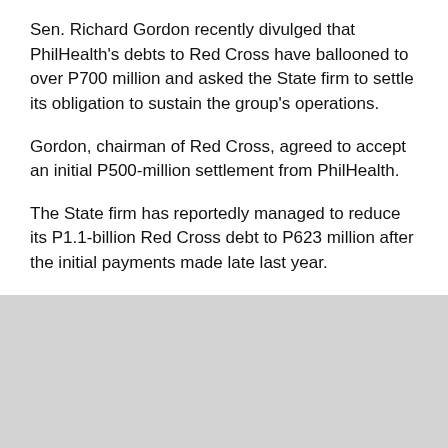Sen. Richard Gordon recently divulged that PhilHealth's debts to Red Cross have ballooned to over P700 million and asked the State firm to settle its obligation to sustain the group's operations.
Gordon, chairman of Red Cross, agreed to accept an initial P500-million settlement from PhilHealth.
The State firm has reportedly managed to reduce its P1.1-billion Red Cross debt to P623 million after the initial payments made late last year.
The PRC earlier warned of suspending the COVID testing charged to PhilHealth due to its inability to pay its debts.